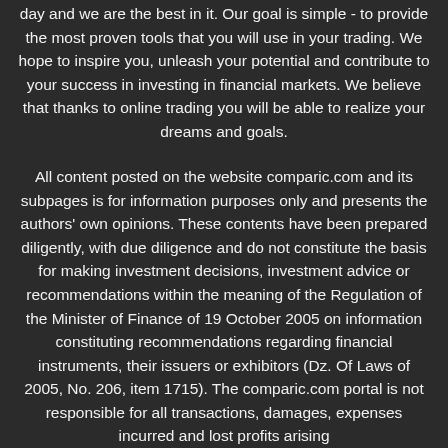day and we are the best in it. Our goal is simple - to provide the most proven tools that you will use in your trading. We hope to inspire you, unleash your potential and contribute to your success in investing in financial markets. We believe that thanks to online trading you will be able to realize your dreams and goals.
All content posted on the website comparic.com and its subpages is for information purposes only and presents the authors' own opinions. These contents have been prepared diligently, with due diligence and do not constitute the basis for making investment decisions, investment advice or recommendations within the meaning of the Regulation of the Minister of Finance of 19 October 2005 on information constituting recommendations regarding financial instruments, their issuers or exhibitors (Dz. Of Laws of 2005, No. 206, item 1715). The comparic.com portal is not responsible for all transactions, damages, expenses incurred and lost profits arising